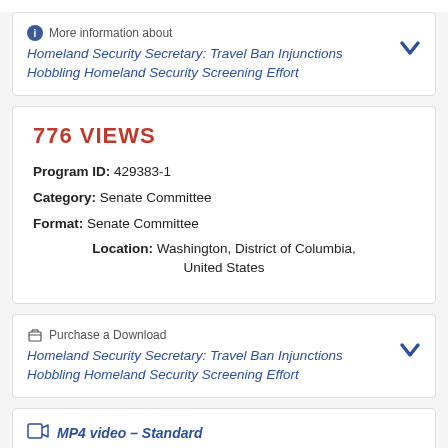More information about Homeland Security Secretary: Travel Ban Injunctions Hobbling Homeland Security Screening Effort
776 VIEWS
Program ID: 429383-1
Category: Senate Committee
Format: Senate Committee
Location: Washington, District of Columbia, United States
Purchase a Download Homeland Security Secretary: Travel Ban Injunctions Hobbling Homeland Security Screening Effort
MP4 video – Standard